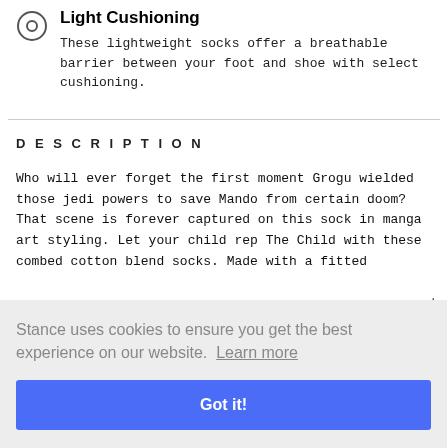Light Cushioning
These lightweight socks offer a breathable barrier between your foot and shoe with select cushioning.
DESCRIPTION
Who will ever forget the first moment Grogu wielded those jedi powers to save Mando from certain doom? That scene is forever captured on this sock in manga art styling. Let your child rep The Child with these combed cotton blend socks. Made with a fitted
Stance uses cookies to ensure you get the best experience on our website. Learn more
Got it!